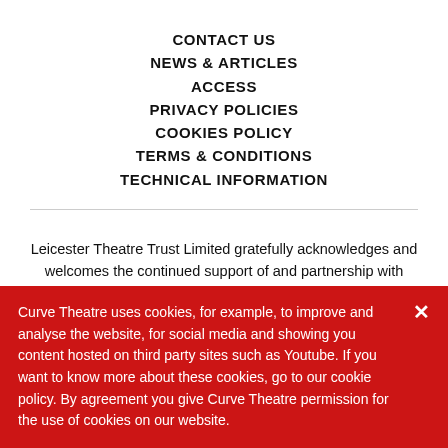CONTACT US
NEWS & ARTICLES
ACCESS
PRIVACY POLICIES
COOKIES POLICY
TERMS & CONDITIONS
TECHNICAL INFORMATION
Leicester Theatre Trust Limited gratefully acknowledges and welcomes the continued support of and partnership with Leicester City Council and Arts Council England.
Registered Charity 230708
Curve Theatre uses cookies, for example, to improve and analyse the website, for social media and showing you content hosted on third party sites such as Youtube. If you want to know more about these cookies, go to our cookie policy. By agreement you give Curve Theatre permission for the use of cookies on our website.